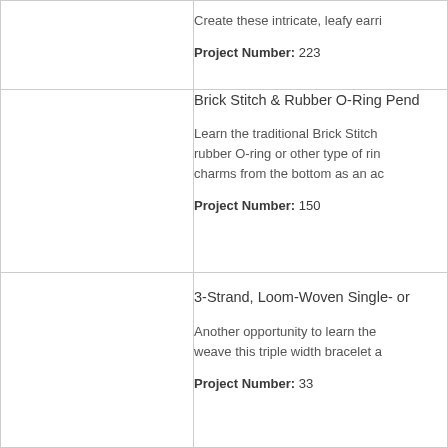Create these intricate, leafy earri
Project Number: 223
Brick Stitch & Rubber O-Ring Pend
Learn the traditional Brick Stitch rubber O-ring or other type of rin charms from the bottom as an ac
Project Number: 150
3-Strand, Loom-Woven Single- or
Another opportunity to learn the weave this triple width bracelet a
Project Number: 33